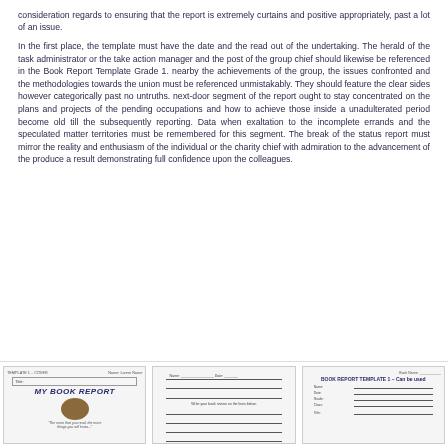consideration regards to ensuring that the report is extremely curtains and positive appropriately, past a lot of an issue.
In the first place, the template must have the date and the read out of the undertaking. The herald of the task administrator or the take action manager and the post of the group chief should likewise be referenced in the Book Report Template Grade 1. nearby the achievements of the group, the issues confronted and the methodologies towards the union must be referenced unmistakably. They should feature the clear sides however categorically past no untruths. next-door segment of the report ought to stay concentrated on the plans and projects of the pending occupations and how to achieve those inside a unadulterated period become old till the subsequently reporting. Data when exaltation to the incomplete errands and the speculated matter territories must be remembered for this segment. The break of the status report must mirror the reality and enthusiasm of the individual or the charity chief with admiration to the advancement of the produce a result demonstrating full confidence upon the colleagues.
[Figure (illustration): Three document template preview images side by side: a book report cover template, a lined writing template with fields, and a form template with fill-in fields.]